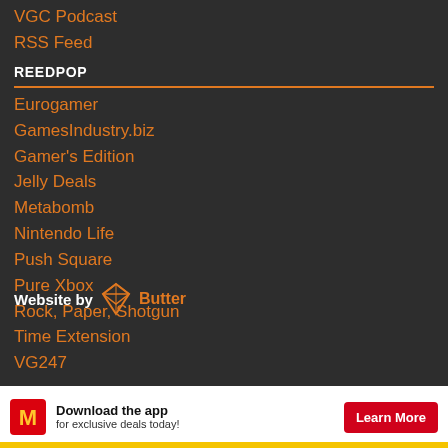VGC Podcast
RSS Feed
REEDPOP
Eurogamer
GamesIndustry.biz
Gamer's Edition
Jelly Deals
Metabomb
Nintendo Life
Push Square
Pure Xbox
Rock, Paper, Shotgun
Time Extension
VG247
Website by [diamond logo] [text logo]
[Figure (infographic): McDonald's advertisement banner: McDonald's golden arches logo, text 'Download the app for exclusive deals today!', red 'Learn More' button]